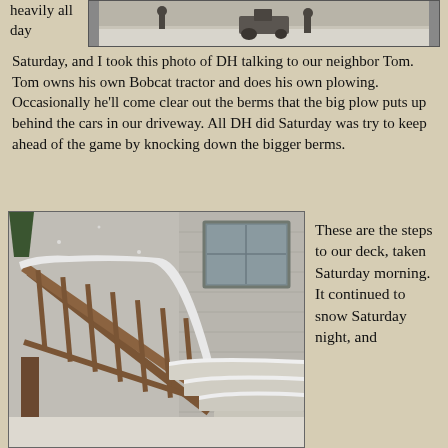heavily all day
[Figure (photo): Black and white photo of a person with a tractor/Bobcat in snowy conditions]
Saturday, and I took this photo of DH talking to our neighbor Tom. Tom owns his own Bobcat tractor and does his own plowing. Occasionally he'll come clear out the berms that the big plow puts up behind the cars in our driveway. All DH did Saturday was try to keep ahead of the game by knocking down the bigger berms.
[Figure (photo): Photo of snow-covered deck steps with wooden railing, taken Saturday morning]
These are the steps to our deck, taken Saturday morning. It continued to snow Saturday night, and